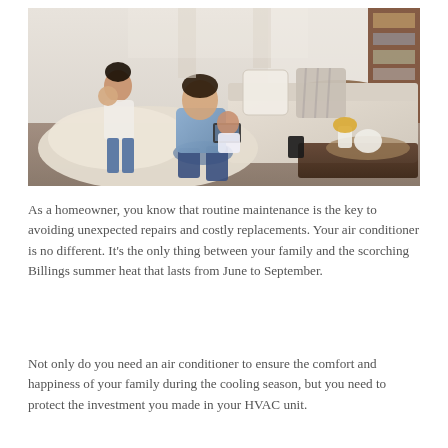[Figure (photo): A family relaxing together in a living room. A man sits on a large cushioned chair or bean bag looking at a tablet with a young girl. A woman stands behind them holding a baby. The room has a couch with white and striped pillows, a wooden dining table in the background, and a tray with decorative items including a white pumpkin and flowers on a coffee table in the foreground.]
As a homeowner, you know that routine maintenance is the key to avoiding unexpected repairs and costly replacements. Your air conditioner is no different. It's the only thing between your family and the scorching Billings summer heat that lasts from June to September.
Not only do you need an air conditioner to ensure the comfort and happiness of your family during the cooling season, but you need to protect the investment you made in your HVAC unit.